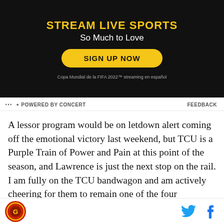[Figure (infographic): Dark background advertisement banner: 'STREAM LIVE SPORTS / So Much to Love / SIGN UP NOW button / Copa Mundial de la FIFA 2022™ streaming en español']
POWERED BY CONCERT | FEEDBACK
A lessor program would be on letdown alert coming off the emotional victory last weekend, but TCU is a Purple Train of Power and Pain at this point of the season, and Lawrence is just the next stop on the rail. I am fully on the TCU bandwagon and am actively cheering for them to remain one of the four championship contenders but I just don't see a lot of points being scored in this game.
My bet: Under 50/$22
Site logo | Twitter icon | Facebook icon